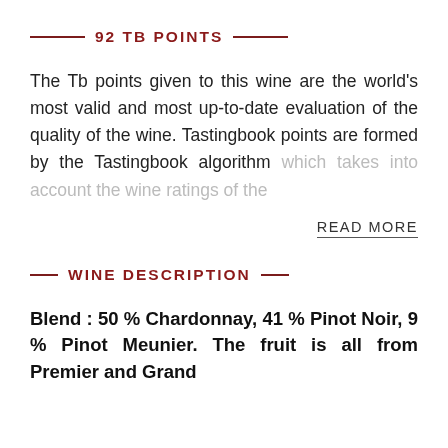92 TB POINTS
The Tb points given to this wine are the world's most valid and most up-to-date evaluation of the quality of the wine. Tastingbook points are formed by the Tastingbook algorithm which takes into account the wine ratings of the
READ MORE
WINE DESCRIPTION
Blend : 50 % Chardonnay, 41 % Pinot Noir, 9 % Pinot Meunier. The fruit is all from Premier and Grand